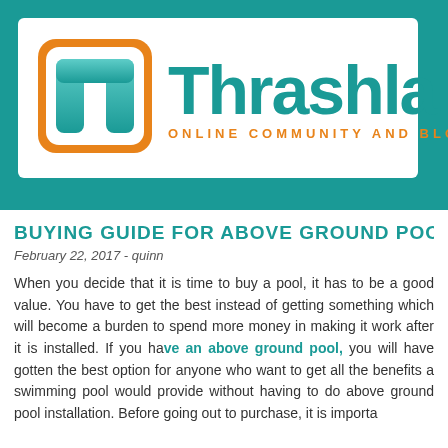[Figure (logo): Thrashlab logo with teal T icon in orange rounded square and teal 'Thrashlab' wordmark with orange 'ONLINE COMMUNITY AND BLOG' subtitle]
BUYING GUIDE FOR ABOVE GROUND POO...
February 22, 2017 - quinn
When you decide that it is time to buy a pool, it has to be a good value. You have to get the best instead of getting something which will become a burden to spend more money in making it work after it is installed. If you have an above ground pool, you will have gotten the best option for anyone who want to get all the benefits a swimming pool would provide without having to do above ground pool installation. Before going out to purchase, it is importa...